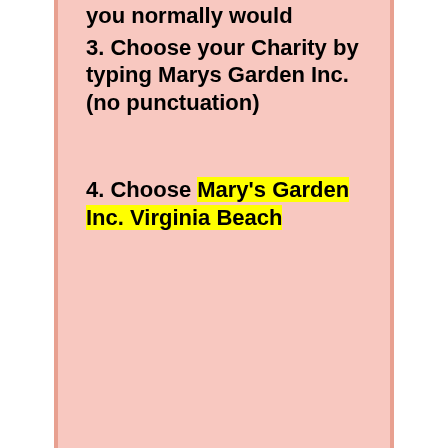you normally would
3. Choose your Charity by typing Marys Garden Inc. (no punctuation)
4. Choose Mary's Garden Inc. Virginia Beach